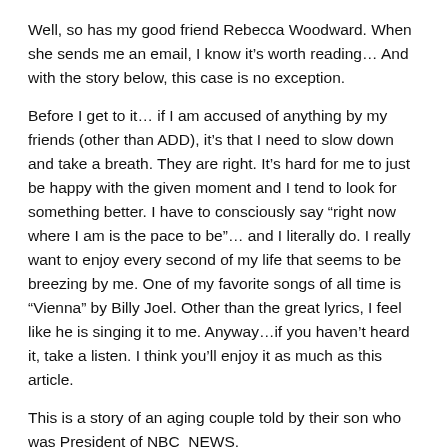Well, so has my good friend Rebecca Woodward. When she sends me an email, I know it’s worth reading… And with the story below, this case is no exception.
Before I get to it… if I am accused of anything by my friends (other than ADD), it’s that I need to slow down and take a breath. They are right. It’s hard for me to just be happy with the given moment and I tend to look for something better. I have to consciously say “right now where I am is the pace to be”… and I literally do. I really want to enjoy every second of my life that seems to be breezing by me. One of my favorite songs of all time is “Vienna” by Billy Joel. Other than the great lyrics, I feel like he is singing it to me. Anyway…if you haven’t heard it, take a listen. I think you’ll enjoy it as much as this article.
This is a story of an aging couple told by their son who was President of NBC NEWS.
This is an amazing piece by Michael Gartner, editor of newspapers large and small and president of NBC News. In